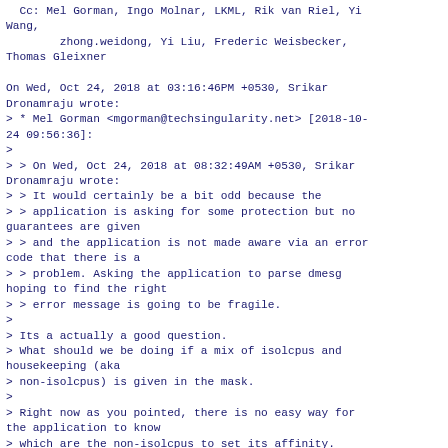Cc: Mel Gorman, Ingo Molnar, LKML, Rik van Riel, Yi Wang,
        zhong.weidong, Yi Liu, Frederic Weisbecker, Thomas Gleixner

On Wed, Oct 24, 2018 at 03:16:46PM +0530, Srikar Dronamraju wrote:
> * Mel Gorman <mgorman@techsingularity.net> [2018-10-24 09:56:36]:
>
> > On Wed, Oct 24, 2018 at 08:32:49AM +0530, Srikar Dronamraju wrote:
> > It would certainly be a bit odd because the
> > application is asking for some protection but no guarantees are given
> > and the application is not made aware via an error code that there is a
> > problem. Asking the application to parse dmesg hoping to find the right
> > error message is going to be fragile.
>
> Its a actually a good question.
> What should we be doing if a mix of isolcpus and housekeeping (aka
> non-isolcpus) is given in the mask.
>
> Right now as you pointed, there is no easy way for the application to know
> which are the non-isolcpus to set its affinity. cpusets effective_cpus and